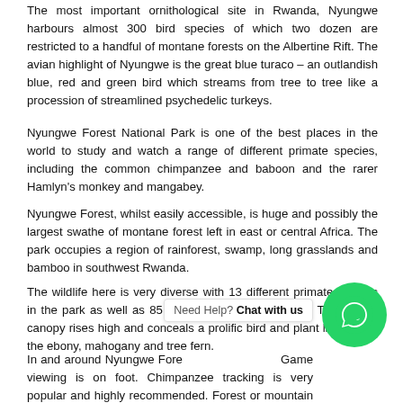The most important ornithological site in Rwanda, Nyungwe harbours almost 300 bird species of which two dozen are restricted to a handful of montane forests on the Albertine Rift. The avian highlight of Nyungwe is the great blue turaco – an outlandish blue, red and green bird which streams from tree to tree like a procession of streamlined psychedelic turkeys.
Nyungwe Forest National Park is one of the best places in the world to study and watch a range of different primate species, including the common chimpanzee and baboon and the rarer Hamlyn's monkey and mangabey.
Nyungwe Forest, whilst easily accessible, is huge and possibly the largest swathe of montane forest left in east or central Africa. The park occupies a region of rainforest, swamp, long grasslands and bamboo in southwest Rwanda.
The wildlife here is very diverse with 13 different primate species in the park as well as 85 recorded mammal species. The forests canopy rises high and conceals a prolific bird and plant life among the ebony, mahogany and tree fern.
In and around Nyungwe Fore... Game viewing is on foot. Chimpanzee tracking is very popular and highly recommended. Forest or mountain walks, as well as